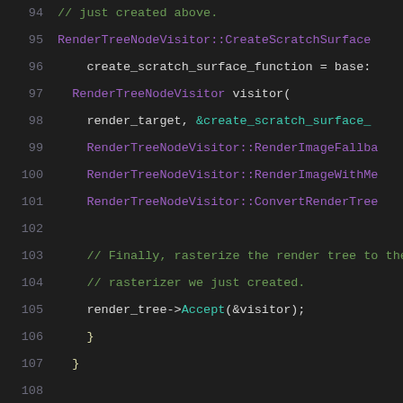[Figure (screenshot): Source code screenshot showing C++ code lines 94-115 with syntax highlighting on dark background. Lines include RenderTreeNodeVisitor, render_tree operations, and SoftwareRasterizer class definitions.]